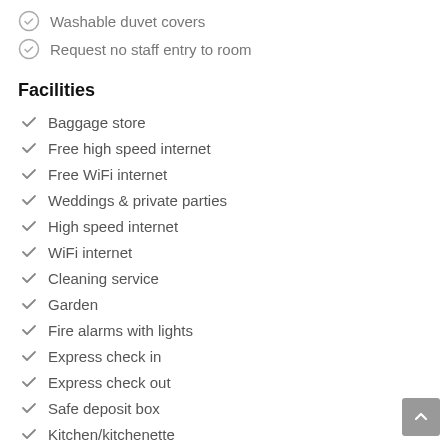Washable duvet covers
Request no staff entry to room
Facilities
Baggage store
Free high speed internet
Free WiFi internet
Weddings & private parties
High speed internet
WiFi internet
Cleaning service
Garden
Fire alarms with lights
Express check in
Express check out
Safe deposit box
Kitchen/kitchenette
CCTV in common areas